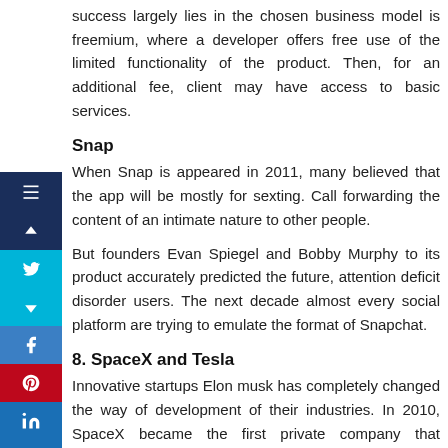success largely lies in the chosen business model is freemium, where a developer offers free use of the limited functionality of the product. Then, for an additional fee, client may have access to basic services.
Snap
When Snap is appeared in 2011, many believed that the app will be mostly for sexting. Call forwarding the content of an intimate nature to other people.
But founders Evan Spiegel and Bobby Murphy to its product accurately predicted the future, attention deficit disorder users. The next decade almost every social platform are trying to emulate the format of Snapchat.
8. SpaceX and Tesla
Innovative startups Elon musk has completely changed the way of development of their industries. In 2010, SpaceX became the first private company that successfully launched and put into orbit a space ship. Today, the cost SpaceX more than $33 billion,